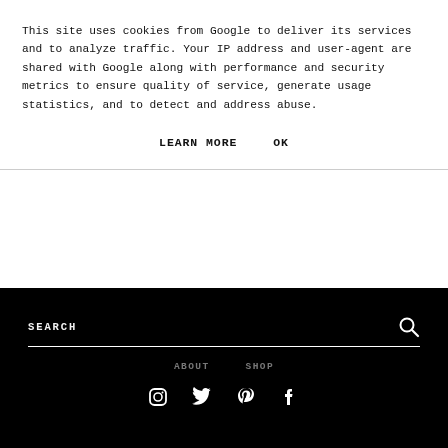This site uses cookies from Google to deliver its services and to analyze traffic. Your IP address and user-agent are shared with Google along with performance and security metrics to ensure quality of service, generate usage statistics, and to detect and address abuse.
LEARN MORE   OK
SEARCH
ABOUT   SHOP
[Figure (infographic): Social media icons row: Instagram, Twitter, Pinterest, Facebook]